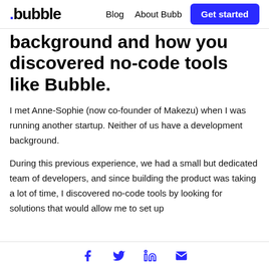.bubble  Blog  About Bubb  Get started
background and how you discovered no-code tools like Bubble.
I met Anne-Sophie (now co-founder of Makezu) when I was running another startup. Neither of us have a development background.
During this previous experience, we had a small but dedicated team of developers, and since building the product was taking a lot of time, I discovered no-code tools by looking for solutions that would allow me to set up
Social share icons: Facebook, Twitter, LinkedIn, Email